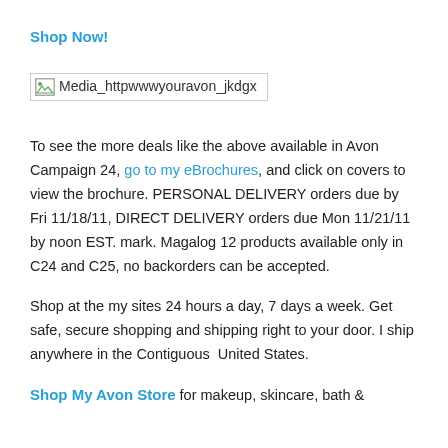Shop Now!
[Figure (other): Broken image placeholder showing 'Media_httpwwwyouravon_jkdgx']
To see the more deals like the above available in Avon Campaign 24, go to my eBrochures, and click on covers to view the brochure. PERSONAL DELIVERY orders due by Fri 11/18/11, DIRECT DELIVERY orders due Mon 11/21/11 by noon EST. mark. Magalog 12 products available only in C24 and C25, no backorders can be accepted.
Shop at the my sites 24 hours a day, 7 days a week. Get safe, secure shopping and shipping right to your door. I ship anywhere in the Contiguous  United States.
Shop My Avon Store for makeup, skincare, bath &